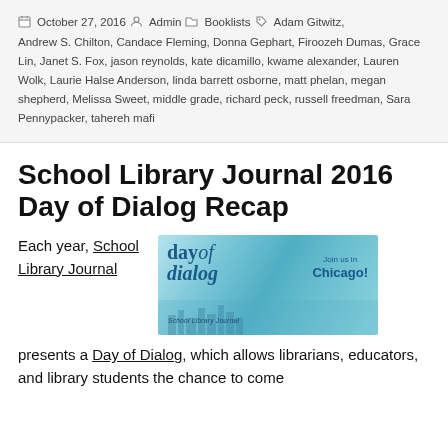October 27, 2016  Admin  Booklists  Adam Gitwitz, Andrew S. Chilton, Candace Fleming, Donna Gephart, Firoozeh Dumas, Grace Lin, Janet S. Fox, jason reynolds, kate dicamillo, kwame alexander, Lauren Wolk, Laurie Halse Anderson, linda barrett osborne, matt phelan, megan shepherd, Melissa Sweet, middle grade, richard peck, russell freedman, Sara Pennypacker, tahereh mafi
School Library Journal 2016 Day of Dialog Recap
Each year, School Library Journal presents a Day of Dialog, which allows librarians, educators, and library students the chance to come
[Figure (photo): Banner image for School Library Journal Day of Dialog event with text 'day of dialog' and 'Join us in Chicago!']